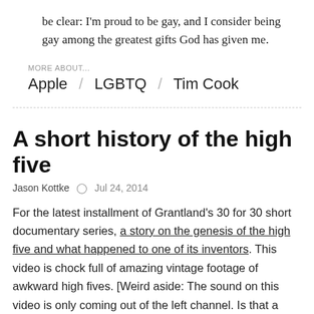be clear: I'm proud to be gay, and I consider being gay among the greatest gifts God has given me.
MORE ABOUT...
Apple / LGBTQ / Tim Cook
A short history of the high five
Jason Kottke  ⊙  Jul 24, 2014
For the latest installment of Grantland's 30 for 30 short documentary series, a story on the genesis of the high five and what happened to one of its inventors. This video is chock full of amazing vintage footage of awkward high fives. [Weird aside: The sound on this video is only coming out of the left channel. Is that a subtle homage to the one-handed